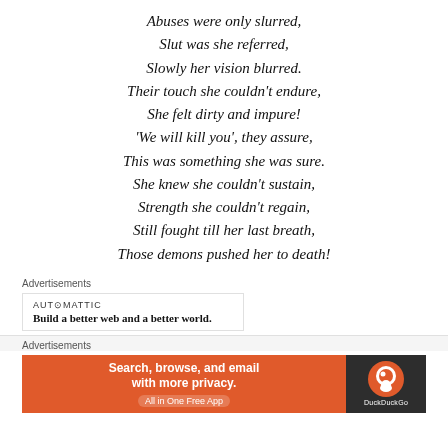Abuses were only slurred,
Slut was she referred,
Slowly her vision blurred.
Their touch she couldn't endure,
She felt dirty and impure!
'We will kill you', they assure,
This was something she was sure.
She knew she couldn't sustain,
Strength she couldn't regain,
Still fought till her last breath,
Those demons pushed her to death!
Advertisements
[Figure (other): Automattic advertisement: logo name 'AUTOMATTIC' and tagline 'Build a better web and a better world.']
Advertisements
[Figure (other): DuckDuckGo advertisement: 'Search, browse, and email with more privacy. All in One Free App' with DuckDuckGo logo on dark background]